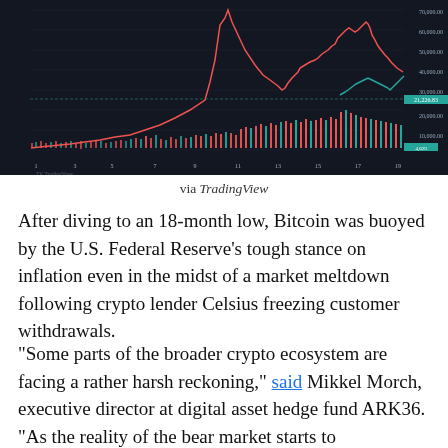[Figure (continuous-plot): Bitcoin price chart from TradingView showing a historical price run-up and decline to an 18-month low, with candlestick/line chart in red and teal, and volume bars at the bottom. The chart shows a dramatic peak and subsequent decline.]
via TradingView
After diving to an 18-month low, Bitcoin was buoyed by the U.S. Federal Reserve’s tough stance on inflation even in the midst of a market meltdown following crypto lender Celsius freezing customer withdrawals.
“Some parts of the broader crypto ecosystem are facing a rather harsh reckoning,” said Mikkel Morch, executive director at digital asset hedge fund ARK36. “As the reality of the bear market starts to